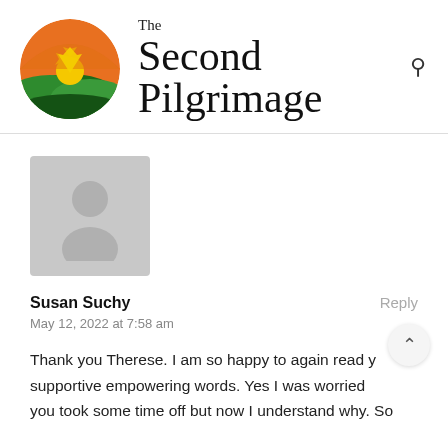[Figure (logo): The Second Pilgrimage website logo: circular icon with sunrise/landscape in greens and oranges, with text 'The Second Pilgrimage' beside it]
[Figure (photo): Gray placeholder avatar image showing silhouette of a person]
Susan Suchy
Reply
May 12, 2022 at 7:58 am
Thank you Therese. I am so happy to again read yr supportive empowering words. Yes I was worried you took some time off but now I understand why. So